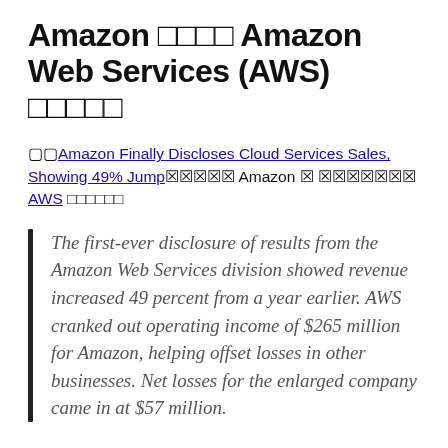Amazon □□□□ Amazon Web Services (AWS) □□□□□
□□Amazon Finally Discloses Cloud Services Sales, Showing 49% Jump□□□□□□ Amazon □ □□□□□□□□ AWS □□□□□□
The first-ever disclosure of results from the Amazon Web Services division showed revenue increased 49 percent from a year earlier. AWS cranked out operating income of $265 million for Amazon, helping offset losses in other businesses. Net losses for the enlarged company came in at $57 million.